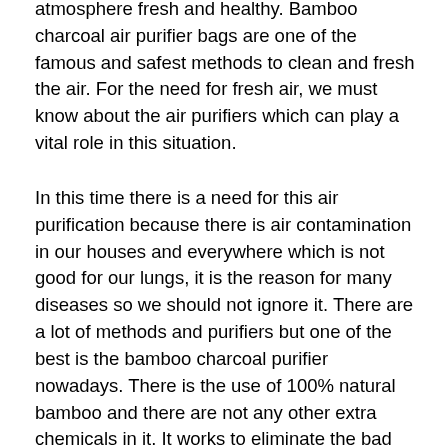atmosphere fresh and healthy. Bamboo charcoal air purifier bags are one of the famous and safest methods to clean and fresh the air. For the need for fresh air, we must know about the air purifiers which can play a vital role in this situation.
In this time there is a need for this air purification because there is air contamination in our houses and everywhere which is not good for our lungs, it is the reason for many diseases so we should not ignore it. There are a lot of methods and purifiers but one of the best is the bamboo charcoal purifier nowadays. There is the use of 100% natural bamboo and there are not any other extra chemicals in it. It works to eliminate the bad smell, pollutants, and moisture from the air. It is very